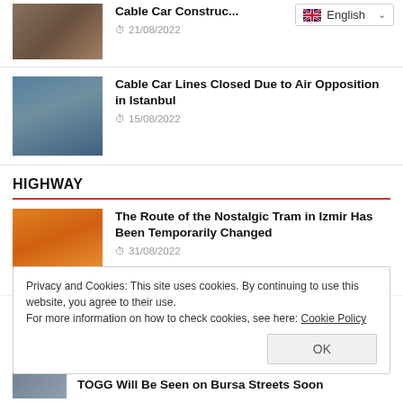[Figure (screenshot): Language selector dropdown showing English with flag]
[Figure (photo): Construction workers on a hillside for cable car construction article]
Cable Car Construc...
21/08/2022
[Figure (photo): Cable car gondola over Istanbul cityscape]
Cable Car Lines Closed Due to Air Opposition in Istanbul
15/08/2022
HIGHWAY
[Figure (photo): Yellow nostalgic tram in Izmir at sunset]
The Route of the Nostalgic Tram in Izmir Has Been Temporarily Changed
31/08/2022
Privacy and Cookies: This site uses cookies. By continuing to use this website, you agree to their use.
For more information on how to check cookies, see here: Cookie Policy
[Figure (photo): Partial photo for TOGG article]
TOGG Will Be Seen on Bursa Streets Soon